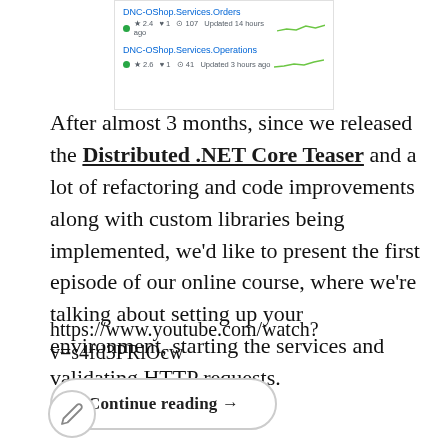[Figure (screenshot): Screenshot of GitHub repository listings showing DNC-OShop.Services.Orders and DNC-OShop.Services.Operations repositories with stats and sparklines]
After almost 3 months, since we released the Distributed .NET Core Teaser and a lot of refactoring and code improvements along with custom libraries being implemented, we'd like to present the first episode of our online course, where we're talking about setting up your environment, starting the services and validating HTTP requests.
https://www.youtube.com/watch?v=s4fd3PRlOcw
Continue reading →